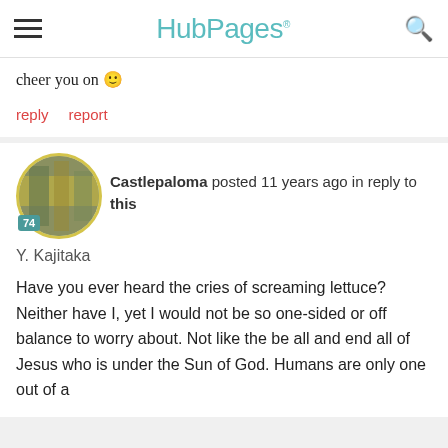HubPages
cheer you on 🙂
reply    report
Castlepaloma posted 11 years ago in reply to this
Y. Kajitaka
Have you ever heard the cries of screaming lettuce? Neither have I, yet I would not be so one-sided or off balance to worry about. Not like the be all and end all of Jesus who is under the Sun of God. Humans are only one out of a